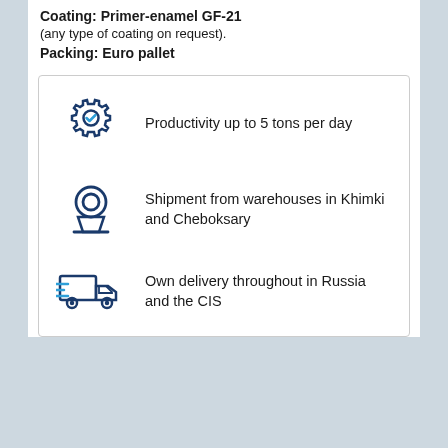Coating: Primer-enamel GF-21
(any type of coating on request).
Packing: Euro pallet
Productivity up to 5 tons per day
Shipment from warehouses in Khimki and Cheboksary
Own delivery throughout in Russia and the CIS